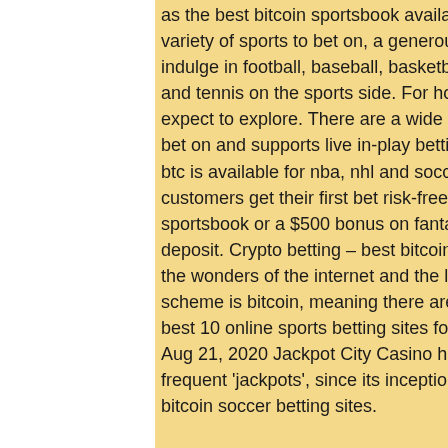as the best bitcoin sportsbook available online, with a great variety of sports to bet on, a generous 50% sports. You can indulge in football, baseball, basketball, soccer, ufc/mma, and tennis on the sports side. For horse betting, you can expect to explore. There are a wide selection of leagues to bet on and supports live in-play betting. Maximum bet of 30 btc is available for nba, nhl and soccer bettors. New fanduel customers get their first bet risk-free up to $1000 on sportsbook or a $500 bonus on fantasy with their first deposit. Crypto betting – best bitcoin betting sites. One of the wonders of the internet and the leading cryptocurrency scheme is bitcoin, meaning there are numerous. Find the best 10 online sports betting sites for 2022
Aug 21, 2020 Jackpot City Casino has been home to frequent 'jackpots', since its inception in the year 1998, best bitcoin soccer betting sites.
[Figure (photo): Blurred bokeh photo of lights and decorations, dark background with golden/warm light circles]